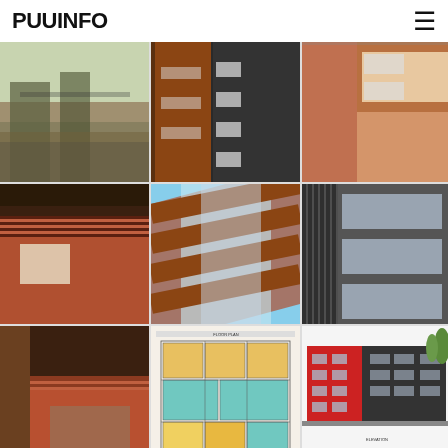PUUINFO
[Figure (photo): Exterior view of a modern multi-story residential building with dark cladding and trees in front, street level view]
[Figure (photo): Close-up of multi-story residential building facade with dark grey and red/brown wood cladding panels]
[Figure (photo): Corner detail of building with red/brown and cream cladding panels and windows]
[Figure (photo): Close-up of building roof overhang and red/brown horizontal wood cladding with windows, blue sky background]
[Figure (photo): Angled close-up of building facade showing red/brown horizontal wood cladding and large glass windows]
[Figure (photo): Close-up of building facade showing vertical dark grey cladding with windows and structural elements]
[Figure (photo): Close-up detail of building overhang with red/brown horizontal wood cladding and dark timber elements]
[Figure (engineering-diagram): Architectural floor plan drawing showing apartment layouts with color-coded rooms in yellow, orange, and teal/green]
[Figure (engineering-diagram): Building elevation rendering showing red and dark grey facade with trees, labeled architectural drawing]
[Figure (engineering-diagram): Building elevation rendering showing red and dark facades from a different angle with trees]